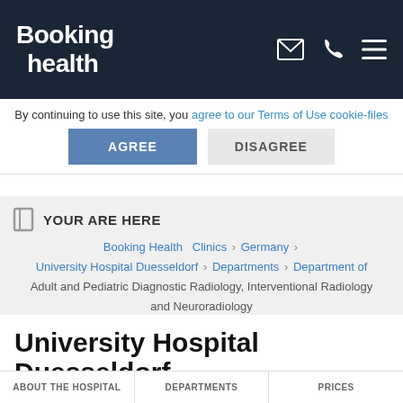Booking health
By continuing to use this site, you agree to our Terms of Use cookie-files
AGREE | DISAGREE
YOUR ARE HERE
Booking Health › Clinics › Germany › University Hospital Duesseldorf › Departments › Department of Adult and Pediatric Diagnostic Radiology, Interventional Radiology and Neuroradiology
University Hospital Duesseldorf
Duesseldorf, Germany
9.45/10 from 71 Votes
Treatment request
ABOUT THE HOSPITAL   DEPARTMENTS   PRICES